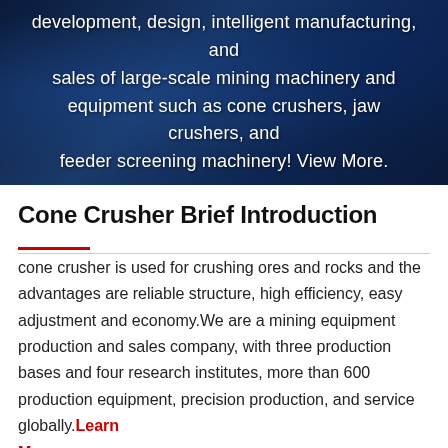[Figure (illustration): Dark blue industrial/technology themed banner with overlaid white centered text describing mining machinery development and sales.]
development, design, intelligent manufacturing, and sales of large-scale mining machinery and equipment such as cone crushers, jaw crushers, and feeder screening machinery! View More.
Cone Crusher Brief Introduction
cone crusher is used for crushing ores and rocks and the advantages are reliable structure, high efficiency, easy adjustment and economy.We are a mining equipment production and sales company, with three production bases and four research institutes, more than 600 production equipment, precision production, and service globally.Learn More